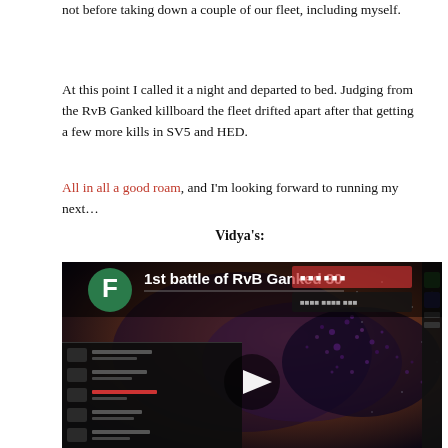not before taking down a couple of our fleet, including myself.
At this point I called it a night and departed to bed. Judging from the RvB Ganked killboard the fleet drifted apart after that getting a few more kills in SV5 and HED.
All in all a good roam, and I'm looking forward to running my next…
Vidya's:
[Figure (screenshot): Video thumbnail showing '1st battle of RvB Ganked 30' with a play button overlay. The image shows a space battle scene with purple dots/explosions and a game UI panel on the left side. There is a green circle with 'F' on the upper left of the thumbnail.]